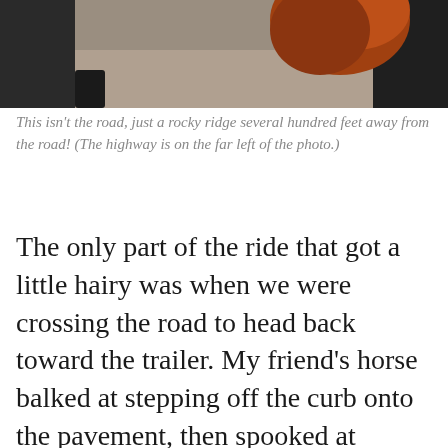[Figure (photo): Cropped photo showing a horse with reddish-brown mane on a rocky ridge, dark borders on left and right sides]
This isn’t the road, just a rocky ridge several hundred feet away from the road! (The highway is on the far left of the photo.)
The only part of the ride that got a little hairy was when we were crossing the road to head back toward the trailer. My friend’s horse balked at stepping off the curb onto the pavement, then spooked at stepping up the curb on the other side of the road. Candy seemed perfectly fine with both curbs until she saw the other horse spook- then she was a little worried! She got tense, but gamely did as I asked.